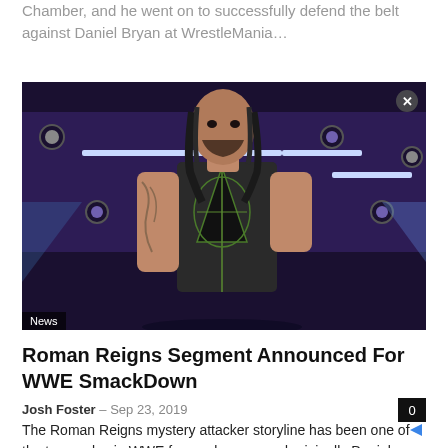Chamber, and he went on to successfully defend the belt against Daniel Bryan at WrestleMania…
[Figure (photo): Roman Reigns standing in an arena with purple lighting and stage equipment in the background, wearing a black tactical vest with green design. A 'News' label overlay appears bottom-left.]
Roman Reigns Segment Announced For WWE SmackDown
Josh Foster  –  Sep 23, 2019
The Roman Reigns mystery attacker storyline has been one of the top angles in WWE for weeks now, and originally Daniel Bryan was one…